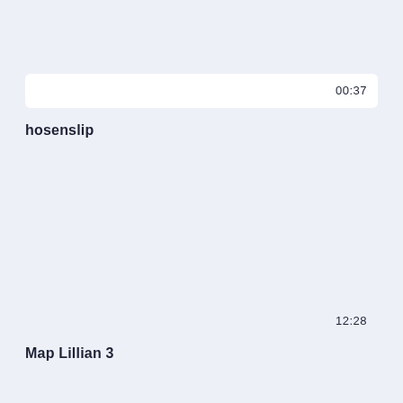00:37
hosenslip
12:28
Map Lillian 3